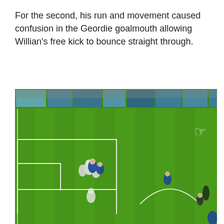For the second, his run and movement caused confusion in the Geordie goalmouth allowing Willian's free kick to bounce straight through.
[Figure (photo): A football match screenshot showing a green pitch with players clustered near the penalty area. White lines mark the penalty box and centre circle. Players in blue and white kits are visible. Advertising boards line the top of the image.]